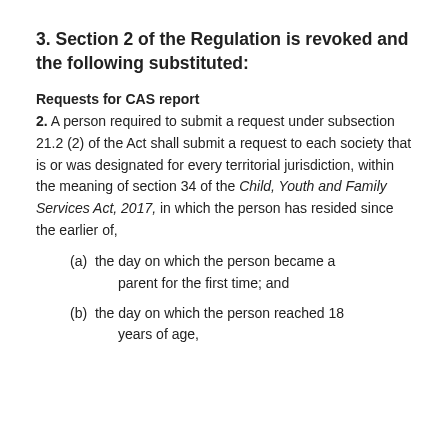3. Section 2 of the Regulation is revoked and the following substituted:
Requests for CAS report
2. A person required to submit a request under subsection 21.2 (2) of the Act shall submit a request to each society that is or was designated for every territorial jurisdiction, within the meaning of section 34 of the Child, Youth and Family Services Act, 2017, in which the person has resided since the earlier of,
(a) the day on which the person became a parent for the first time; and
(b) the day on which the person reached 18 years of age,